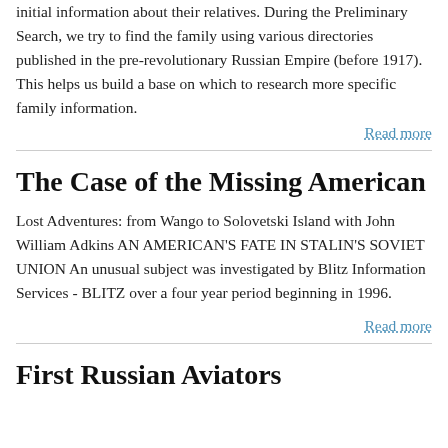initial information about their relatives. During the Preliminary Search, we try to find the family using various directories published in the pre-revolutionary Russian Empire (before 1917). This helps us build a base on which to research more specific family information.
Read more
The Case of the Missing American
Lost Adventures: from Wango to Solovetski Island with John William Adkins AN AMERICAN'S FATE IN STALIN'S SOVIET UNION An unusual subject was investigated by Blitz Information Services - BLITZ over a four year period beginning in 1996.
Read more
First Russian Aviators